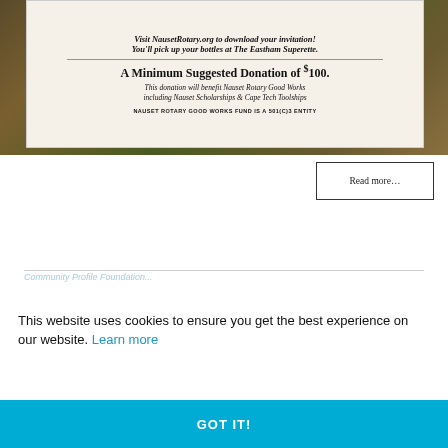[Figure (illustration): Promotional flyer for Nauset Rotary on an autumn nature background. White inner box contains italic bold text about visiting NausetRotary.org, a gold divider line, bold text about a Minimum Suggested Donation of $100, italic description text about the donation benefiting Nauset Rotary Good Works, and small caps text about the Nauset Rotary Good Works Fund.]
Read more...
This website uses cookies to ensure you get the best experience on our website. Learn more
GOT IT!